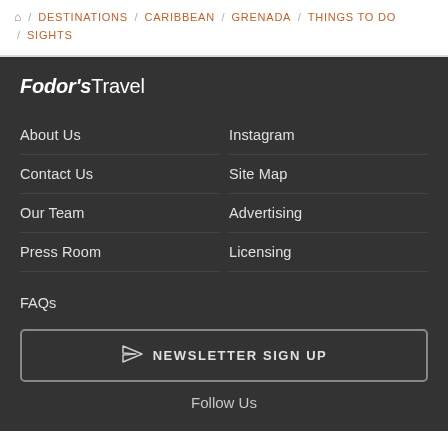🏠 / DESTINATIONS / CARIBBEAN / GRENADA / THINGS TO DO / SIGHTS
[Figure (logo): Fodor's Travel logo in white text on dark background]
About Us
Instagram
Contact Us
Site Map
Our Team
Advertising
Press Room
Licensing
FAQs
NEWSLETTER SIGN UP
Follow Us